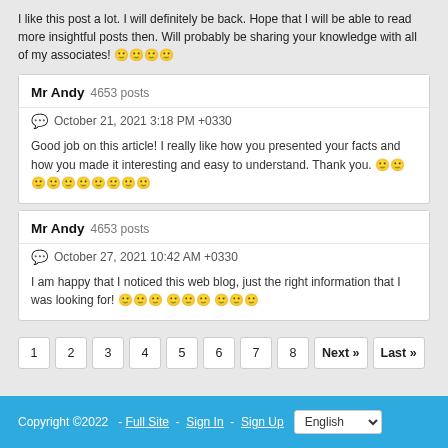I like this post a lot. I will definitely be back. Hope that I will be able to read more insightful posts then. Will probably be sharing your knowledge with all of my associates! 🙂🙂🙂🙂
Mr Andy  4653 posts
October 21, 2021 3:18 PM +0330
Good job on this article! I really like how you presented your facts and how you made it interesting and easy to understand. Thank you. 🙂🙂🙂🙂🙂🙂🙂🙂🙂🙂
Mr Andy  4653 posts
October 27, 2021 10:42 AM +0330
I am happy that I noticed this web blog, just the right information that I was looking for! 🙂🙂🙂 🙂🙂🙂 🙂🙂🙂
1
2
3
4
5
6
7
8
Next »
Last »
Copyright ©2022  -  Full Site  -  Sign In  -  Sign Up   English